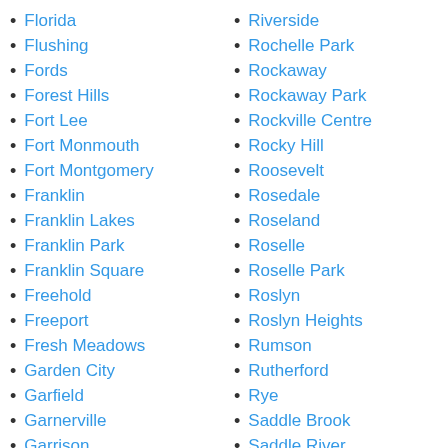Florida
Flushing
Fords
Forest Hills
Fort Lee
Fort Monmouth
Fort Montgomery
Franklin
Franklin Lakes
Franklin Park
Franklin Square
Freehold
Freeport
Fresh Meadows
Garden City
Garfield
Garnerville
Garrison
Garwood
Riverside
Rochelle Park
Rockaway
Rockaway Park
Rockville Centre
Rocky Hill
Roosevelt
Rosedale
Roseland
Roselle
Roselle Park
Roslyn
Roslyn Heights
Rumson
Rutherford
Rye
Saddle Brook
Saddle River
Saint Albans